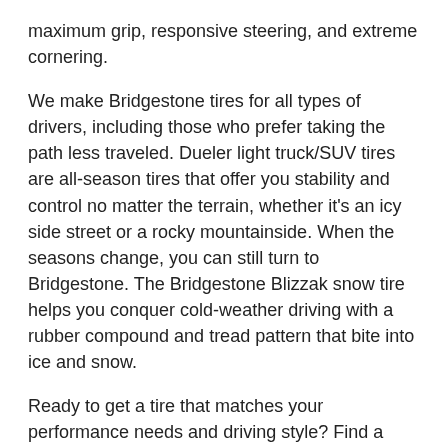maximum grip, responsive steering, and extreme cornering.
We make Bridgestone tires for all types of drivers, including those who prefer taking the path less traveled. Dueler light truck/SUV tires are all-season tires that offer you stability and control no matter the terrain, whether it's an icy side street or a rocky mountainside. When the seasons change, you can still turn to Bridgestone. The Bridgestone Blizzak snow tire helps you conquer cold-weather driving with a rubber compound and tread pattern that bite into ice and snow.
Ready to get a tire that matches your performance needs and driving style? Find a Bridgestone tire dealer near you and shop Bridgestone car and truck tires for sale in Mechanicsville. Clutch performance begins and ends with Bridgestone tires.
GET BRIDGESTONE TIRES IN MECHANICSVILLE, VA